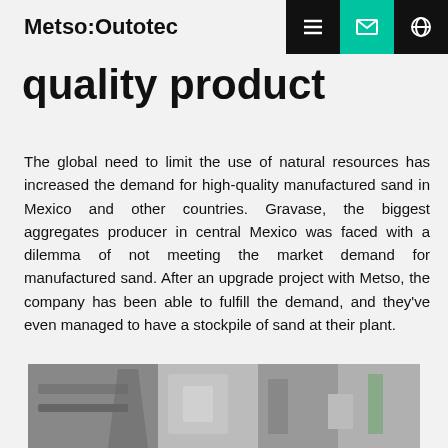Metso:Outotec
quality product
The global need to limit the use of natural resources has increased the demand for high-quality manufactured sand in Mexico and other countries. Gravase, the biggest aggregates producer in central Mexico was faced with a dilemma of not meeting the market demand for manufactured sand. After an upgrade project with Metso, the company has been able to fulfill the demand, and they've even managed to have a stockpile of sand at their plant.
[Figure (photo): Industrial machinery at a Gravase plant, showing manufacturing sand equipment and structures.]